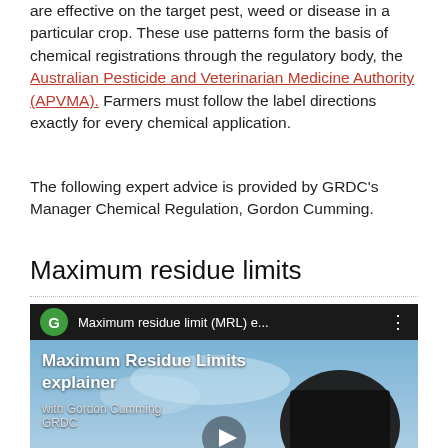are effective on the target pest, weed or disease in a particular crop. These use patterns form the basis of chemical registrations through the regulatory body, the Australian Pesticide and Veterinarian Medicine Authority (APVMA). Farmers must follow the label directions exactly for every chemical application.
The following expert advice is provided by GRDC's Manager Chemical Regulation, Gordon Cumming.
Maximum residue limits
[Figure (screenshot): YouTube video thumbnail showing 'Maximum residue limit (MRL) e...' with green G avatar icon, video title overlay 'Maximum Residue Limits explainer with Gordon Cumming GRDC', and a play button. Background shows a sky scene with what appears to be agricultural equipment.]